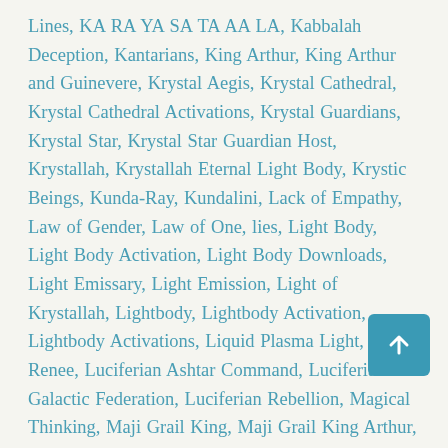Lines, KA RA YA SA TA AA LA, Kabbalah Deception, Kantarians, King Arthur, King Arthur and Guinevere, Krystal Aegis, Krystal Cathedral, Krystal Cathedral Activations, Krystal Guardians, Krystal Star, Krystal Star Guardian Host, Krystallah, Krystallah Eternal Light Body, Krystic Beings, Kunda-Ray, Kundalini, Lack of Empathy, Law of Gender, Law of One, lies, Light Body, Light Body Activation, Light Body Downloads, Light Emissary, Light Emission, Light of Krystallah, Lightbody, Lightbody Activation, Lightbody Activations, Liquid Plasma Light, Lisa Renee, Luciferian Ashtar Command, Luciferian Galactic Federation, Luciferian Rebellion, Magical Thinking, Maji Grail King, Maji Grail King Arthur, Mandatory Vaccination, Master Christos Collective, Master-Slave Agendas, Master-Slave Narratives, Matrix, Maturity, May 2022, Meri Scotia, Mind Control, Mind Control Agenda, Mind Control Programs, Mind Control Propaganda, Mind Uploading, Mind-Controlled Robots, Misinformation, Misplaced Trust, MK-Ultra, MK-Ultra Glitches, MK-Ultra Handlers, MK-Ultra Mind-Control Shootings, MK-Ultra Mind-Controlled Shooters, MK-Ultra Mind-Controlled